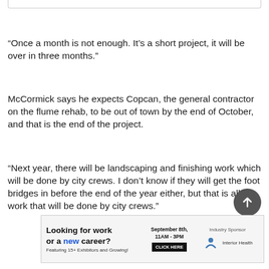“Once a month is not enough. It’s a short project, it will be over in three months.”
McCormick says he expects Copcan, the general contractor on the flume rehab, to be out of town by the end of October, and that is the end of the project.
“Next year, there will be landscaping and finishing work which will be done by city crews. I don’t know if they will get the foot bridges in before the end of the year either, but that is all work that will be done by city crews.”
[Figure (infographic): Advertisement banner: Looking for work or a new career? September 8th, 11AM-3PM. Featuring 15+ Exhibitors and Growing! Industry Sponsor Interior Health. Click Here button.]